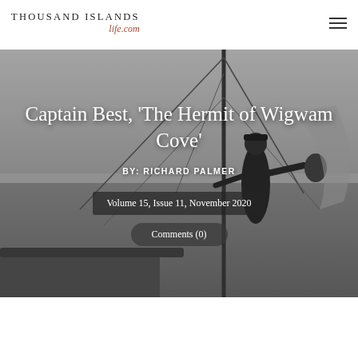Thousand Islands life.com
[Figure (photo): Black and white photograph of an elderly man on a sailboat, standing near the mast and rigging, with water and flat landscape visible in the background.]
Captain Best, 'The Hermit of Wigwam Cove'
BY: RICHARD PALMER
Volume 15, Issue 11, November 2020
Comments (0)